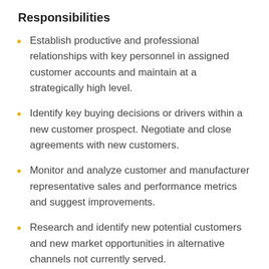Responsibilities
Establish productive and professional relationships with key personnel in assigned customer accounts and maintain at a strategically high level.
Identify key buying decisions or drivers within a new customer prospect. Negotiate and close agreements with new customers.
Monitor and analyze customer and manufacturer representative sales and performance metrics and suggest improvements.
Research and identify new potential customers and new market opportunities in alternative channels not currently served.
Provide timely and effective solutions aligned with